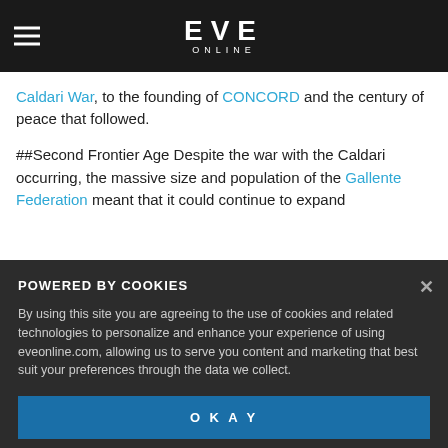EVE ONLINE
Caldari War, to the founding of CONCORD and the century of peace that followed.
##Second Frontier Age Despite the war with the Caldari occurring, the massive size and population of the Gallente Federation meant that it could continue to expand
[Figure (screenshot): Cookie consent overlay with title POWERED BY COOKIES, body text about cookie usage on eveonline.com, and an OKAY button]
expedition discovered the system of Mevhas (today